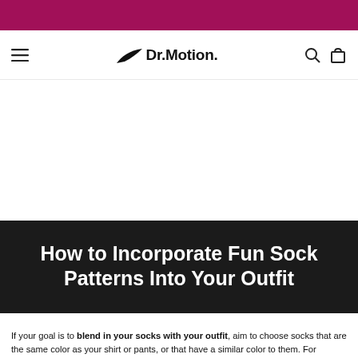[Figure (logo): Dr. Motion logo with stylized leaf/motion icon and text 'Dr.Motion.']
How to Incorporate Fun Sock Patterns Into Your Outfit
If your goal is to blend in your socks with your outfit, aim to choose socks that are the same color as your shirt or pants, or that have a similar color to them. For example, if you enjoy wearing jeans, socks